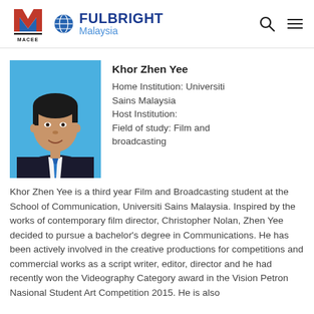[Figure (logo): MACEE logo — red and blue M shape with MACEE text below]
[Figure (logo): Fulbright Malaysia logo — globe icon with FULBRIGHT Malaysia text in blue]
[Figure (photo): Portrait photo of Khor Zhen Yee, a young Asian man in a dark suit with a blue tie, against a blue background]
Khor Zhen Yee
Home Institution: Universiti Sains Malaysia
Host Institution:
Field of study: Film and broadcasting
Khor Zhen Yee is a third year Film and Broadcasting student at the School of Communication, Universiti Sains Malaysia. Inspired by the works of contemporary film director, Christopher Nolan, Zhen Yee decided to pursue a bachelor's degree in Communications. He has been actively involved in the creative productions for competitions and commercial works as a script writer, editor, director and he had recently won the Videography Category award in the Vision Petron Nasional Student Art Competition 2015. He is also